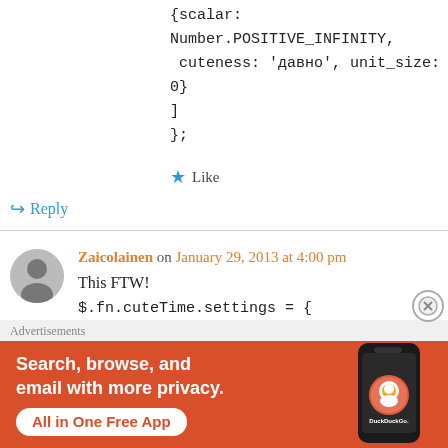{scalar: Number.POSITIVE_INFINITY, cuteness: 'давно', unit_size: 0}
]
};
★ Like
↪ Reply
Zaicolainen on January 29, 2013 at 4:00 pm
This FTW!
$.fn.cuteTime.settings = {
Advertisements
[Figure (screenshot): DuckDuckGo advertisement banner with orange background, bold white text reading 'Search, browse, and email with more privacy. All in One Free App', and a phone image with DuckDuckGo logo.]